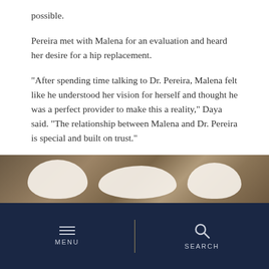possible.
Pereira met with Malena for an evaluation and heard her desire for a hip replacement.
“After spending time talking to Dr. Pereira, Malena felt like he understood her vision for herself and thought he was a perfect provider to make this a reality,” Daya said. “The relationship between Malena and Dr. Pereira is special and built on trust.”
No reported cases in medical literature
Pereira had never seen a patient like Malena before. After evaluating her, he looked in the medical literature.
[Figure (photo): Photo showing white/cream colored objects (possibly medical models or bone replicas) on a dark wood surface]
MENU | SEARCH